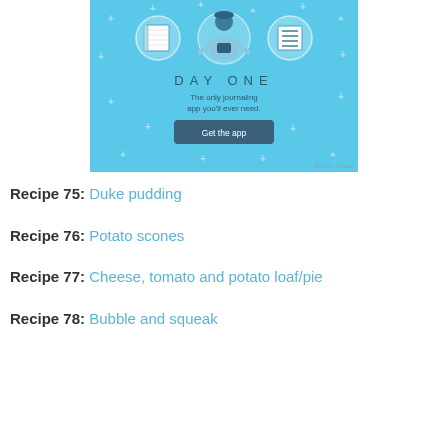[Figure (illustration): Day One journaling app advertisement banner. Light blue background with illustrated figure holding a phone, flanked by notebook and list icons in circles. Text reads 'DAY ONE - The only journaling app you'll ever need.' with a dark blue 'Get the app' button. 'REPORT THIS AD' text in lower right corner.]
Recipe 75: Duke pudding
Recipe 76: Potato scones
Recipe 77: Cheese, tomato and potato loaf/pie
Recipe 78: Bubble and squeak